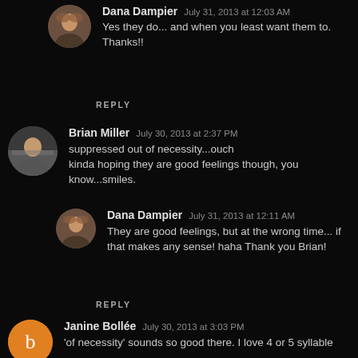Dana Dampier  July 31, 2013 at 12:03 AM
Yes they do... and when you least want them to. Thanks!!
REPLY
Brian Miller  July 30, 2013 at 2:37 PM
suppressed out of necessity...ouch kinda hoping they are good feelings though, you know...smiles.
Dana Dampier  July 31, 2013 at 12:11 AM
They are good feelings, but at the wrong time... if that makes any sense! haha Thank you Brian!
REPLY
Janine Bollée  July 30, 2013 at 3:03 PM
'of necessity' sounds so good there. I love 4 or 5 syllable